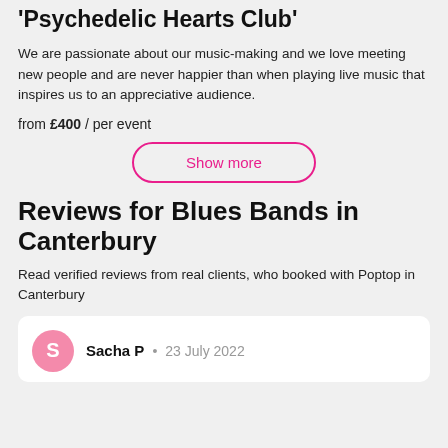Rock & Roll & Chicago Blues Duo 'Psychedelic Hearts Club'
We are passionate about our music-making and we love meeting new people and are never happier than when playing live music that inspires us to an appreciative audience.
from £400 / per event
Show more
Reviews for Blues Bands in Canterbury
Read verified reviews from real clients, who booked with Poptop in Canterbury
Sacha P • 23 July 2022